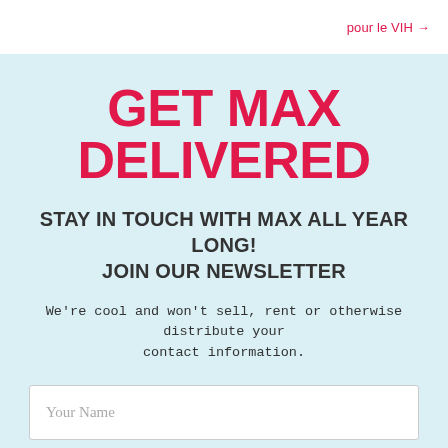pour le VIH →
GET MAX DELIVERED
STAY IN TOUCH WITH MAX ALL YEAR LONG! JOIN OUR NEWSLETTER
We're cool and won't sell, rent or otherwise distribute your contact information.
Your Name
Your Email